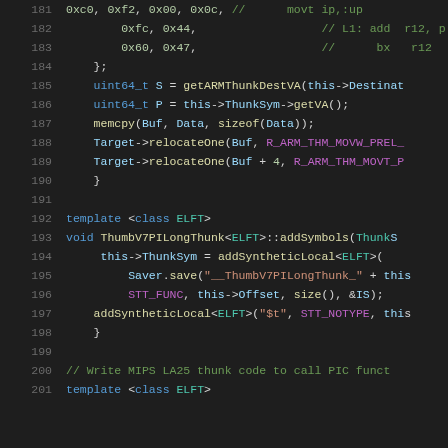[Figure (screenshot): Source code listing lines 181-201 showing C++ code for ARM thunk relocation and ThumbV7PILongThunk class methods, displayed in a dark-themed code editor]